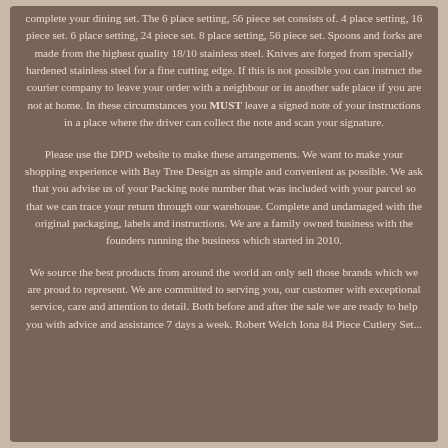complete your dining set. The 6 place setting, 56 piece set consists of. 4 place setting, 16 piece set. 6 place setting, 24 piece set. 8 place setting, 56 piece set. Spoons and forks are made from the highest quality 18/10 stainless steel. Knives are forged from specially hardened stainless steel for a fine cutting edge. If this is not possible you can instruct the courier company to leave your order with a neighbour or in another safe place if you are not at home. In these circumstances you MUST leave a signed note of your instructions in a place where the driver can collect the note and scan your signature.
Please use the DPD website to make these arrangements. We want to make your shopping experience with Bay Tree Design as simple and convenient as possible. We ask that you advise us of your Packing note number that was included with your parcel so that we can trace your return through our warehouse. Complete and undamaged with the original packaging, labels and instructions. We are a family owned business with the founders running the business which started in 2010.
We source the best products from around the world an only sell those brands which we are proud to represent. We are committed to serving you, our customer with exceptional service, care and attention to detail. Both before and after the sale we are ready to help you with advice and assistance 7 days a week. Robert Welch Iona 84 Piece Cutlery Set...